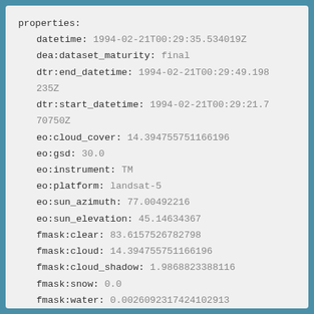properties:
  datetime: 1994-02-21T00:29:35.534019Z
  dea:dataset_maturity: final
  dtr:end_datetime: 1994-02-21T00:29:49.198235Z
  dtr:start_datetime: 1994-02-21T00:29:21.770750Z
  eo:cloud_cover: 14.394755751166196
  eo:gsd: 30.0
  eo:instrument: TM
  eo:platform: landsat-5
  eo:sun_azimuth: 77.00492216
  eo:sun_elevation: 45.14634367
  fmask:clear: 83.6157526782798
  fmask:cloud: 14.394755751166196
  fmask:cloud_shadow: 1.9868823388116
  fmask:snow: 0.0
  fmask:water: 0.00260923174241029l3
  gqa:abs_iterative_mean_x: 0.11